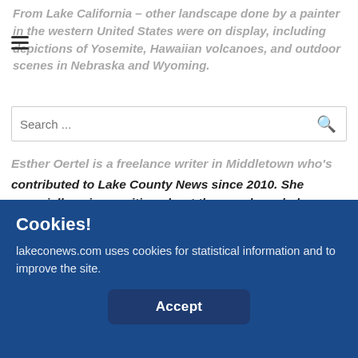From Lake California – other landscape done by a painter in the western United States were on display, including depictions of Yosemite, Hawaiian volcanoes, and outdoor scenes in Nebraska and Wyoming.
[Figure (screenshot): Search bar with placeholder text 'Search ...' and a magnifying glass icon on the right]
Esther Oertel is a freelance writer in Middletown who's contributed to Lake County News since 2010. She especially enjoys writing about the people and places that make Lake County unique. For comments, questions and story suggestions, she may be reached at belleswords@hotmail.com.
[Figure (photo): Partial photo strip visible at bottom of content area]
Cookies!

lakeconews.com uses cookies for statistical information and to improve the site.

Accept